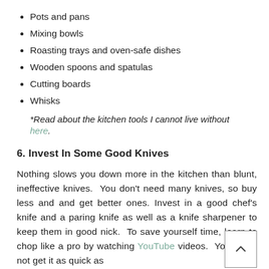Pots and pans
Mixing bowls
Roasting trays and oven-safe dishes
Wooden spoons and spatulas
Cutting boards
Whisks
*Read about the kitchen tools I cannot live without here.
6. Invest In Some Good Knives
Nothing slows you down more in the kitchen than blunt, ineffective knives.  You don't need many knives, so buy less and and get better ones. Invest in a good chef's knife and a paring knife as well as a knife sharpener to keep them in good nick.  To save yourself time, learn to chop like a pro by watching YouTube videos.  You might not get it as quick as